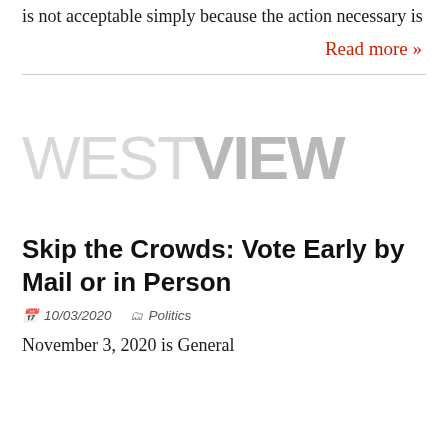is not acceptable simply because the action necessary is
Read more »
[Figure (logo): WESTVIEW watermark logo in light gray]
Skip the Crowds: Vote Early by Mail or in Person
10/03/2020   Politics
November 3, 2020 is General